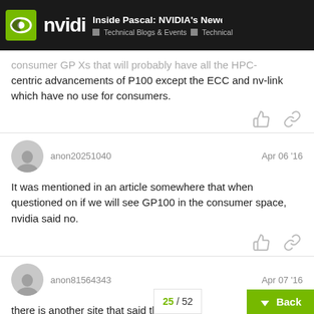Inside Pascal: NVIDIA's Newest Com... | Technical Blogs & Events | Technical
consumer GP Xs that will probably have all the HPC-centric advancements of P100 except the ECC and nv-link which have no use for consumers.
anon20251040 — Apr 06 '16
It was mentioned in an article somewhere that when questioned on if we will see GP100 in the consumer space, nvidia said no.
anon81564343 — Apr 07 '16
there is another site that said this card